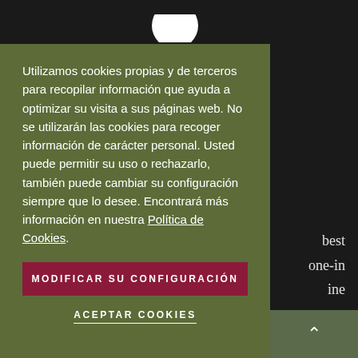[Figure (screenshot): Dark background website screenshot partially visible behind cookie consent overlay. White circular logo partially visible at top center. Right side shows partial text: 'best', 'one-in', 'ine' in light color on dark background.]
Utilizamos cookies propias y de terceros para recopilar información que ayuda a optimizar su visita a sus páginas web. No se utilizarán las cookies para recoger información de carácter personal. Usted puede permitir su uso o rechazarlo, también puede cambiar su configuración siempre que lo desee. Encontrará más información en nuestra Política de Cookies.
MODIFICAR SU CONFIGURACIÓN
ACEPTAR COOKIES